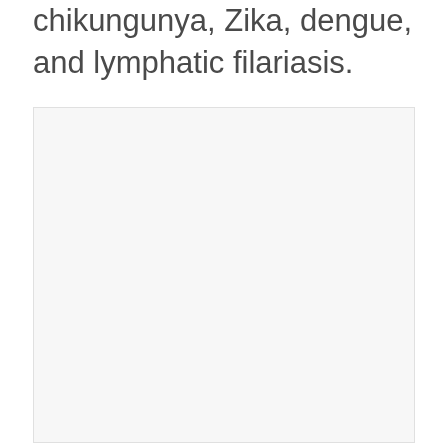chikungunya, Zika, dengue, and lymphatic filariasis.
[Figure (other): A blank or mostly empty figure/image box with a light gray background, appearing to be a placeholder or image that did not render.]